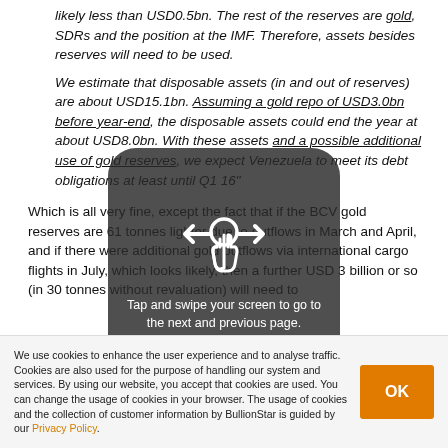likely less than USD0.5bn. The rest of the reserves are gold, SDRs and the position at the IMF. Therefore, assets besides reserves will need to be used.
We estimate that disposable assets (in and out of reserves) are about USD15.1bn. Assuming a gold repo of USD3.0bn before year-end, the disposable assets could end the year at about USD8.0bn. With these assets and a possible additional use of gold reserves, we expect Venezuela to meet its debt obligations at least until Q1 16"
Which is all very fine, except the fact that if the BCV gold reserves are 61 tonnes lighter due to outflows in March and April, and if there were additional gold outflows via international cargo flights in July, which looks likely, then a further USD 3 billion or so (in 30 tonnes without revaluation) will need to...
We use cookies to enhance the user experience and to analyse traffic. Cookies are also used for the purpose of handling our system and services. By using our website, you accept that cookies are used. You can change the usage of cookies in your browser. The usage of cookies and the collection of customer information by BullionStar is guided by our Privacy Policy.